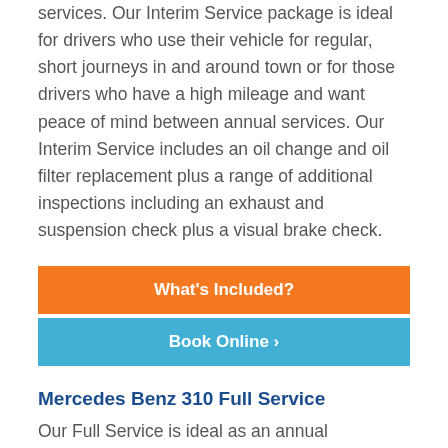services. Our Interim Service package is ideal for drivers who use their vehicle for regular, short journeys in and around town or for those drivers who have a high mileage and want peace of mind between annual services. Our Interim Service includes an oil change and oil filter replacement plus a range of additional inspections including an exhaust and suspension check plus a visual brake check.
What's Included?
Book Online >
Mercedes Benz 310 Full Service
Our Full Service is ideal as an annual maintenance programme for your car. We recommend your car